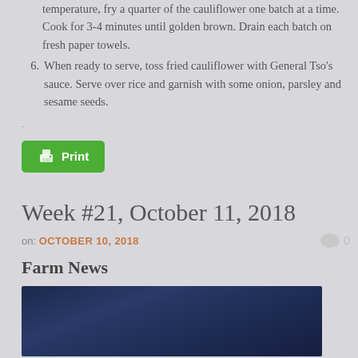temperature, fry a quarter of the cauliflower one batch at a time. Cook for 3-4 minutes until golden brown. Drain each batch on fresh paper towels.
6. When ready to serve, toss fried cauliflower with General Tso's sauce. Serve over rice and garnish with some onion, parsley and sesame seeds.
[Figure (other): Print button - green rounded rectangle with printer icon and 'Print' text]
Week #21, October 11, 2018
on: OCTOBER 10, 2018   0
Farm News
[Figure (photo): Dark blue/navy photograph, appears to be a cloudy or evening sky scene]